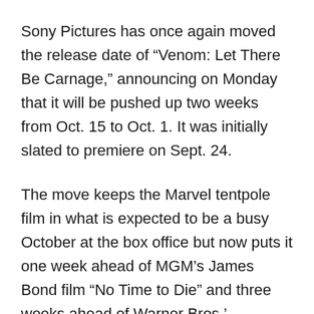Sony Pictures has once again moved the release date of “Venom: Let There Be Carnage,” announcing on Monday that it will be pushed up two weeks from Oct. 15 to Oct. 1. It was initially slated to premiere on Sept. 24.
The move keeps the Marvel tentpole film in what is expected to be a busy October at the box office but now puts it one week ahead of MGM’s James Bond film “No Time to Die” and three weeks ahead of Warner Bros.’ blockbuster “Dune,” which received praise following its premiere at the Venice Film Festival.